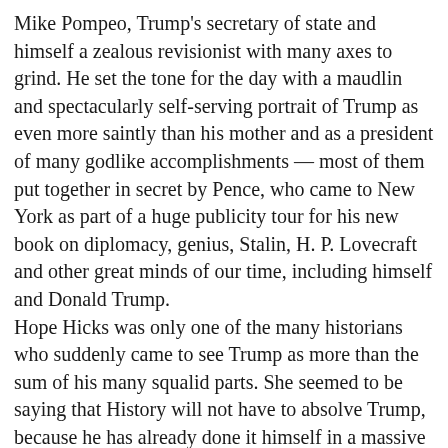Mike Pompeo, Trump's secretary of state and himself a zealous revisionist with many axes to grind. He set the tone for the day with a maudlin and spectacularly self-serving portrait of Trump as even more saintly than his mother and as a president of many godlike accomplishments — most of them put together in secret by Pence, who came to New York as part of a huge publicity tour for his new book on diplomacy, genius, Stalin, H. P. Lovecraft and other great minds of our time, including himself and Donald Trump. Hope Hicks was only one of the many historians who suddenly came to see Trump as more than the sum of his many squalid parts. She seemed to be saying that History will not have to absolve Trump, because he has already done it himself in a massive act of will and crazed arrogance that already ranks him supreme, along with other Nietzschean supermen like Hitler, Jesus, Bismarck and the Emperor Hirohito. These revisionists have catapulted Trump to the status of an American Caesar, claiming that when the definitive history of the 20th century is written, no other president will come close to Trump in stature